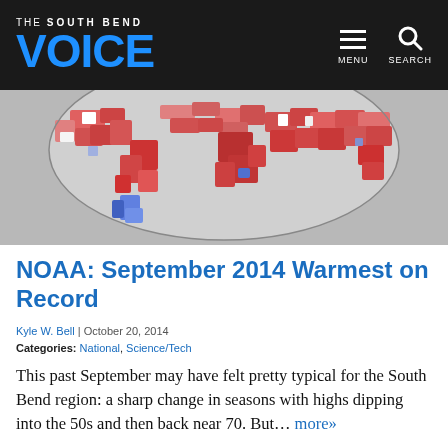The South Bend VOICE
[Figure (map): Global temperature anomaly map for September 2014, showing mostly red (warm) areas across the globe with some blue (cool) patches, displayed in an oval/elliptical projection on a gray background.]
NOAA: September 2014 Warmest on Record
Kyle W. Bell | October 20, 2014
Categories: National, Science/Tech
This past September may have felt pretty typical for the South Bend region: a sharp change in seasons with highs dipping into the 50s and then back near 70. But… more»